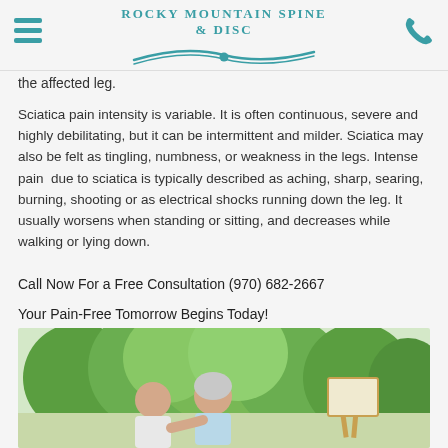Rocky Mountain Spine & Disc
the affected leg.
Sciatica pain intensity is variable. It is often continuous, severe and highly debilitating, but it can be intermittent and milder. Sciatica may also be felt as tingling, numbness, or weakness in the legs. Intense pain due to sciatica is typically described as aching, sharp, searing, burning, shooting or as electrical shocks running down the leg. It usually worsens when standing or sitting, and decreases while walking or lying down.
Call Now For a Free Consultation (970) 682-2667
Your Pain-Free Tomorrow Begins Today!
[Figure (photo): Elderly couple outdoors, smiling at each other, with trees in the background and an easel partially visible]